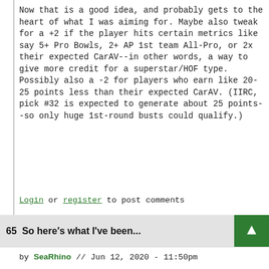Now that is a good idea, and probably gets to the heart of what I was aiming for. Maybe also tweak for a +2 if the player hits certain metrics like say 5+ Pro Bowls, 2+ AP 1st team All-Pro, or 2x their expected CarAV--in other words, a way to give more credit for a superstar/HOF type. Possibly also a -2 for players who earn like 20-25 points less than their expected CarAV. (IIRC, pick #32 is expected to generate about 25 points--so only huge 1st-round busts could qualify.)
Login or register to post comments
65  So here's what I've been...
by SeaRhino // Jun 12, 2020 - 11:50pm